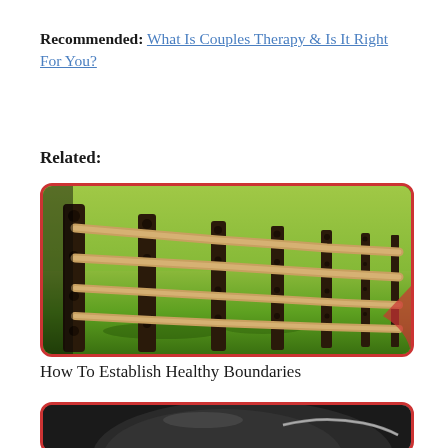Recommended: What Is Couples Therapy & Is It Right For You?
Related:
[Figure (photo): Photo of a wooden split-rail fence receding into the distance along a green grassy field. The image has a red rounded-corner border.]
How To Establish Healthy Boundaries
[Figure (photo): Partial photo of a dark/black curved object on a red rounded-corner background, partially visible at bottom of page.]